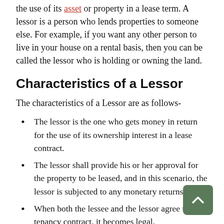the use of its asset or property in a lease term. A lessor is a person who lends properties to someone else. For example, if you want any other person to live in your house on a rental basis, then you can be called the lessor who is holding or owning the land.
Characteristics of a Lessor
The characteristics of a Lessor are as follows-
The lessor is the one who gets money in return for the use of its ownership interest in a lease contract.
The lessor shall provide his or her approval for the property to be leased, and in this scenario, the lessor is subjected to any monetary returns.
When both the lessee and the lessor agree to a tenancy contract, it becomes legal.
Repairing and servicing not majorly affected by the